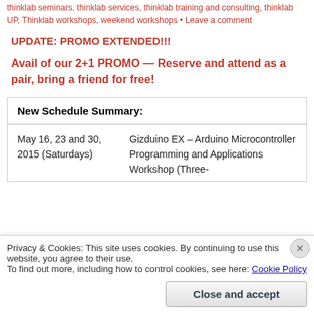thinklab seminars, thinklab services, thinklab training and consulting, thinklab UP, Thinklab workshops, weekend workshops • Leave a comment
UPDATE: PROMO EXTENDED!!!
Avail of our 2+1 PROMO — Reserve and attend as a pair, bring a friend for free!
| Date | Course |
| --- | --- |
| May 16, 23 and 30, 2015 (Saturdays) | Gizduino EX – Arduino Microcontroller Programming and Applications Workshop (Three- |
Privacy & Cookies: This site uses cookies. By continuing to use this website, you agree to their use.
To find out more, including how to control cookies, see here: Cookie Policy